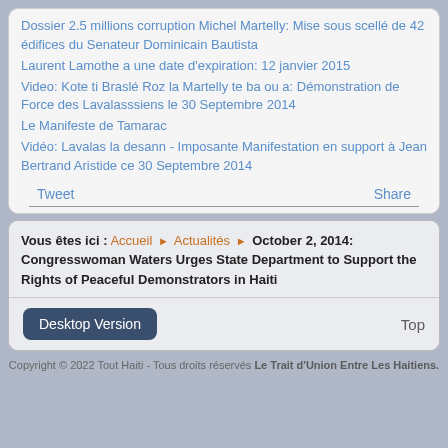Dossier 2.5 millions corruption Michel Martelly: Mise sous scellé de 42 édifices du Senateur Dominicain Bautista
Laurent Lamothe a une date d'expiration: 12 janvier 2015
Video: Kote ti Braslé Roz la Martelly te ba ou a: Démonstration de Force des Lavalasssiens le 30 Septembre 2014
Le Manifeste de Tamarac
Vidéo: Lavalas la desann - Imposante Manifestation en support à Jean Bertrand Aristide ce 30 Septembre 2014
Tweet    Share
Vous êtes ici : Accueil ▶ Actualités ▶ October 2, 2014: Congresswoman Waters Urges State Department to Support the Rights of Peaceful Demonstrators in Haiti
Desktop Version    Top
Copyright © 2022 Tout Haiti - Tous droits réservés Le Trait d'Union Entre Les Haitiens.